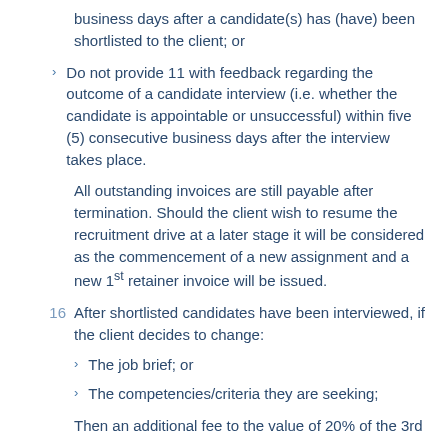business days after a candidate(s) has (have) been shortlisted to the client; or
Do not provide 11 with feedback regarding the outcome of a candidate interview (i.e. whether the candidate is appointable or unsuccessful) within five (5) consecutive business days after the interview takes place.
All outstanding invoices are still payable after termination. Should the client wish to resume the recruitment drive at a later stage it will be considered as the commencement of a new assignment and a new 1st retainer invoice will be issued.
16  After shortlisted candidates have been interviewed, if the client decides to change:
The job brief; or
The competencies/criteria they are seeking;
Then an additional fee to the value of 20% of the 3rd